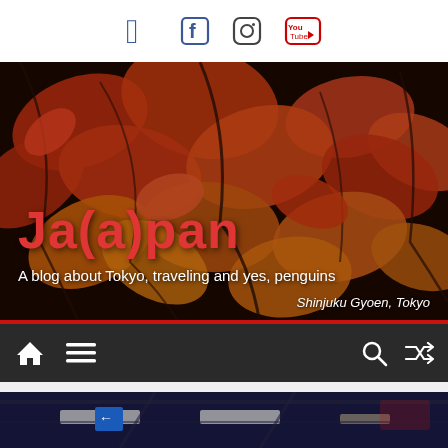Social media icons: Facebook, Instagram, YouTube
[Figure (photo): Hero image of autumn red maple leaves (momiji) in close-up, dark background with warm red, orange, yellow tones. Text overlay: 'Ja(a)pan' in large red font, subtitle 'A blog about Tokyo, traveling and yes, penguins', location tag 'Shinjuku Gyoen, Tokyo']
Ja(a)pan
A blog about Tokyo, traveling and yes, penguins
Shinjuku Gyoen, Tokyo
[Figure (screenshot): Navigation bar with home icon, hamburger menu icon on left; search icon and shuffle/random icon on right, dark background]
[Figure (photo): Partial view of an indoor venue/station interior with overhead lights and structural beams, blue-purple ambient lighting, partially visible signage]